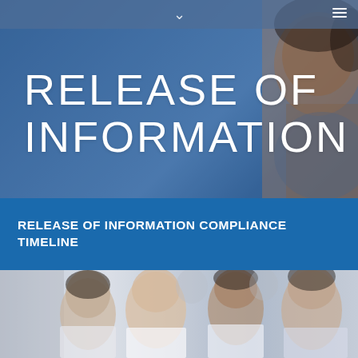[Figure (photo): Blue-tinted photo of a woman (healthcare professional) in the background, upper portion of the page]
RELEASE OF INFORMATION
RELEASE OF INFORMATION COMPLIANCE TIMELINE
[Figure (photo): Photo of a group of healthcare professionals (doctors and nurses) looking down at something together]